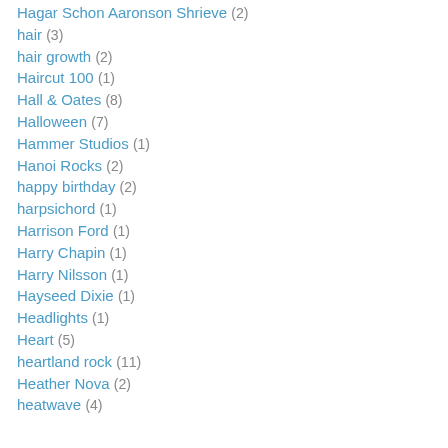Hagar Schon Aaronson Shrieve (2)
hair (3)
hair growth (2)
Haircut 100 (1)
Hall & Oates (8)
Halloween (7)
Hammer Studios (1)
Hanoi Rocks (2)
happy birthday (2)
harpsichord (1)
Harrison Ford (1)
Harry Chapin (1)
Harry Nilsson (1)
Hayseed Dixie (1)
Headlights (1)
Heart (5)
heartland rock (11)
Heather Nova (2)
heatwave (4)